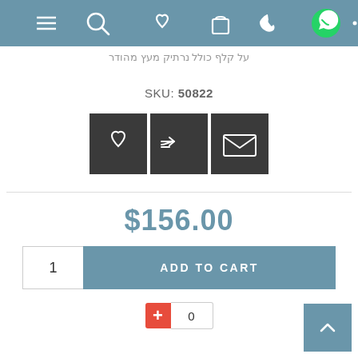[Figure (screenshot): Mobile app navigation bar with icons: hamburger menu, search, heart/wishlist, shopping bag, phone, WhatsApp (green), and ellipsis]
על קלף כולל נרתיק מעץ מהודר
SKU: 50822
[Figure (screenshot): Three dark square icon buttons: heart/wishlist, shuffle/compare, and email/envelope]
$156.00
1  ADD TO CART
+ 0